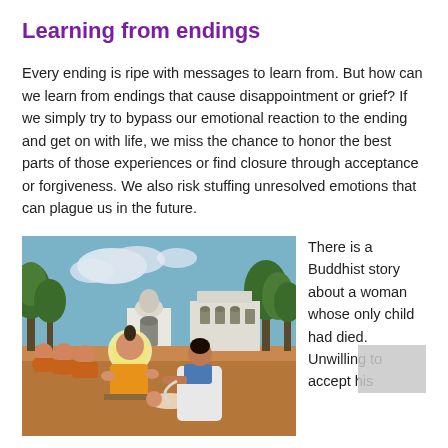Learning from endings
Every ending is ripe with messages to learn from. But how can we learn from endings that cause disappointment or grief? If we simply try to bypass our emotional reaction to the ending and get on with life, we miss the chance to honor the best parts of those experiences or find closure through acceptance or forgiveness. We also risk stuffing unresolved emotions that can plague us in the future.
[Figure (illustration): A traditional Buddhist painting showing the Buddha in orange robes seated on a mat, speaking to monks on his left and a woman in white robes kneeling before him with a child lying on the ground, set against a landscape with trees and white domed buildings in the background.]
There is a Buddhist story about a woman whose only child had died. Unwilling to accept his death, she sought out the Buddha and pleaded with him to